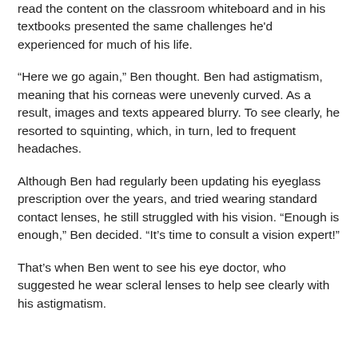read the content on the classroom whiteboard and in his textbooks presented the same challenges he'd experienced for much of his life.
“Here we go again,” Ben thought. Ben had astigmatism, meaning that his corneas were unevenly curved. As a result, images and texts appeared blurry. To see clearly, he resorted to squinting, which, in turn, led to frequent headaches.
Although Ben had regularly been updating his eyeglass prescription over the years, and tried wearing standard contact lenses, he still struggled with his vision. “Enough is enough,” Ben decided. “It’s time to consult a vision expert!”
That’s when Ben went to see his eye doctor, who suggested he wear scleral lenses to help see clearly with his astigmatism.